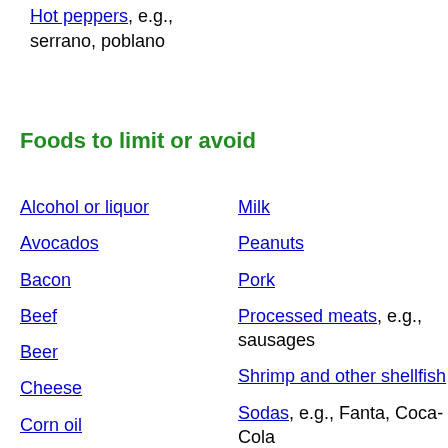Hot peppers, e.g., serrano, poblano
Foods to limit or avoid
Alcohol or liquor
Milk
Avocados
Peanuts
Bacon
Pork
Beef
Processed meats, e.g., sausages
Beer
Shrimp and other shellfish
Cheese
Sodas, e.g., Fanta, Coca-Cola
Corn oil
Sour cream
Cream
Soybean oil
Ham
Lamb